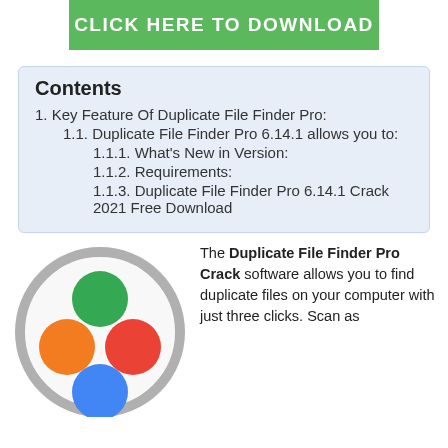[Figure (other): Green download button with text CLICK HERE TO DOWNLOAD]
Contents
1. Key Feature Of Duplicate File Finder Pro:
1.1. Duplicate File Finder Pro 6.14.1 allows you to:
1.1.1. What's New in Version:
1.1.2. Requirements:
1.1.3. Duplicate File Finder Pro 6.14.1 Crack 2021 Free Download
[Figure (logo): Duplicate File Finder Pro logo — circular icon with green, orange, red, and blue circles inside a gray ring]
The Duplicate File Finder Pro Crack software allows you to find duplicate files on your computer with just three clicks. Scan as